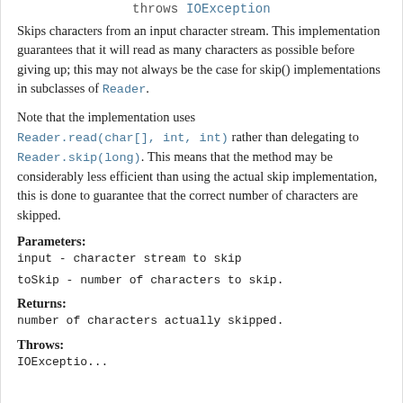throws IOException
Skips characters from an input character stream. This implementation guarantees that it will read as many characters as possible before giving up; this may not always be the case for skip() implementations in subclasses of Reader.
Note that the implementation uses Reader.read(char[], int, int) rather than delegating to Reader.skip(long). This means that the method may be considerably less efficient than using the actual skip implementation, this is done to guarantee that the correct number of characters are skipped.
Parameters:
input - character stream to skip
toSkip - number of characters to skip.
Returns:
number of characters actually skipped.
Throws:
IOExceptionifthereisanioexceptionreading...